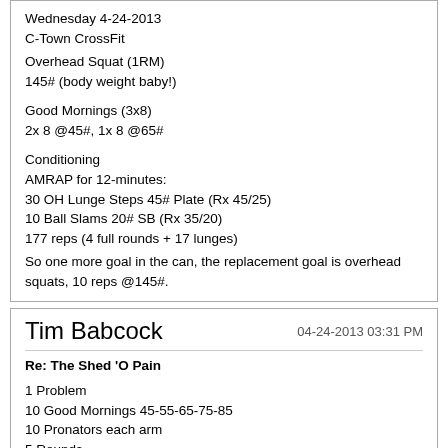Wednesday 4-24-2013
C-Town CrossFit

Overhead Squat (1RM)
145# (body weight baby!)

Good Mornings (3x8)
2x 8 @45#, 1x 8 @65#

Conditioning
AMRAP for 12-minutes:
30 OH Lunge Steps 45# Plate (Rx 45/25)
10 Ball Slams 20# SB (Rx 35/20)
177 reps (4 full rounds + 17 lunges)

So one more goal in the can, the replacement goal is overhead squats, 10 reps @145#.
Tim Babcock
04-24-2013 03:31 PM

Re: The Shed 'O Pain

1 Problem
10 Good Mornings 45-55-65-75-85
10 Pronators each arm
5 Rounds

1 Problem
10 GHD Sit ups